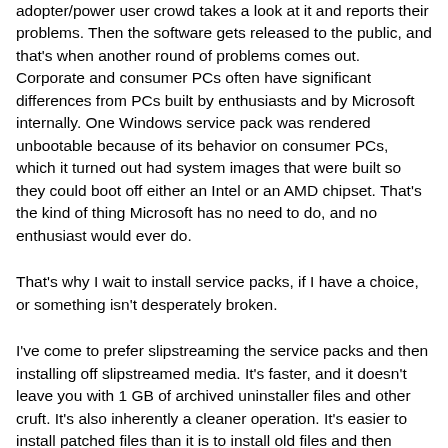adopter/power user crowd takes a look at it and reports their problems. Then the software gets released to the public, and that's when another round of problems comes out. Corporate and consumer PCs often have significant differences from PCs built by enthusiasts and by Microsoft internally. One Windows service pack was rendered unbootable because of its behavior on consumer PCs, which it turned out had system images that were built so they could boot off either an Intel or an AMD chipset. That's the kind of thing Microsoft has no need to do, and no enthusiast would ever do.
That's why I wait to install service packs, if I have a choice, or something isn't desperately broken.
I've come to prefer slipstreaming the service packs and then installing off slipstreamed media. It's faster, and it doesn't leave you with 1 GB of archived uninstaller files and other cruft. It's also inherently a cleaner operation. It's easier to install patched files than it is to install old files and then change